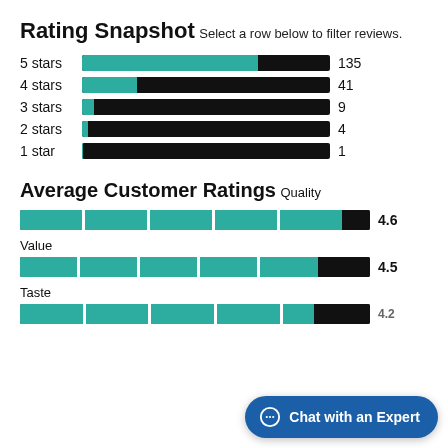Rating Snapshot
Select a row below to filter reviews.
[Figure (bar-chart): Rating Snapshot]
Average Customer Ratings
Quality
[Figure (bar-chart): Quality]
Value
[Figure (bar-chart): Value]
Taste
[Figure (bar-chart): Taste]